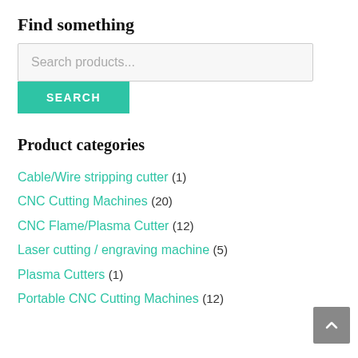Find something
Search products...
SEARCH
Product categories
Cable/Wire stripping cutter (1)
CNC Cutting Machines (20)
CNC Flame/Plasma Cutter (12)
Laser cutting / engraving machine (5)
Plasma Cutters (1)
Portable CNC Cutting Machines (12)